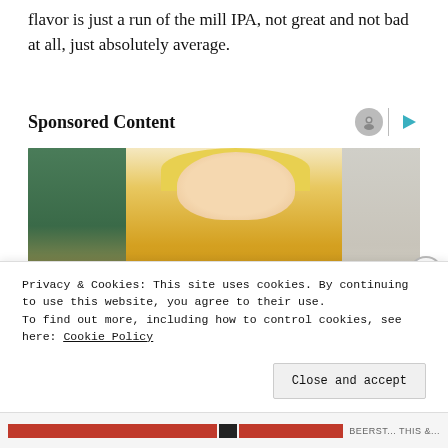flavor is just a run of the mill IPA, not great and not bad at all, just absolutely average.
Sponsored Content
[Figure (photo): A blonde woman wearing a yellow knit sweater looking at her elbow/arm, seated in a living room setting with plants and grey couch in background.]
Privacy & Cookies: This site uses cookies. By continuing to use this website, you agree to their use.
To find out more, including how to control cookies, see here: Cookie Policy
Close and accept